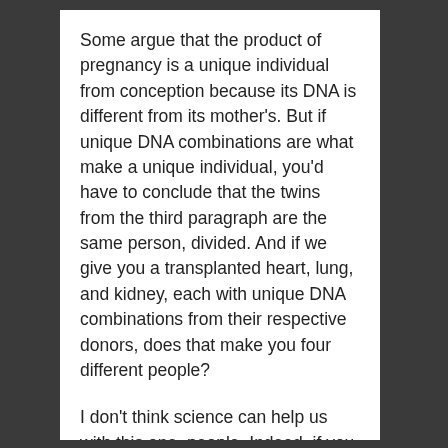Some argue that the product of pregnancy is a unique individual from conception because its DNA is different from its mother's. But if unique DNA combinations are what make a unique individual, you'd have to conclude that the twins from the third paragraph are the same person, divided. And if we give you a transplanted heart, lung, and kidney, each with unique DNA combinations from their respective donors, does that make you four different people?
I don't think science can help us with this one, people. Indeed, if you step back and look at human civilization throughout space and time, you might notice that “person” is a social construct that has been constructed in very